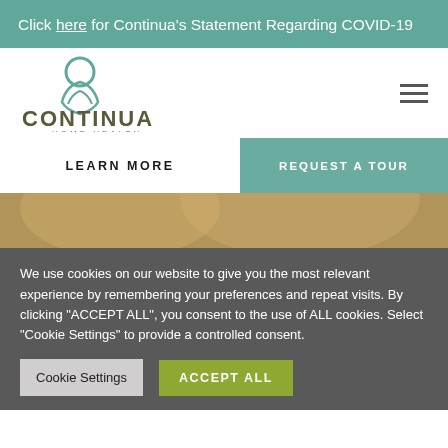Click here for Continua’s Statement Regarding COVID-19
[Figure (logo): Continua Home Health logo with teal circular hands graphic above text]
LEARN MORE
REQUEST A TOUR
[Figure (photo): Background photo showing hands, warm tones]
We use cookies on our website to give you the most relevant experience by remembering your preferences and repeat visits. By clicking “ACCEPT ALL”, you consent to the use of ALL cookies. Select "Cookie Settings" to provide a controlled consent.
Cookie Settings
ACCEPT ALL